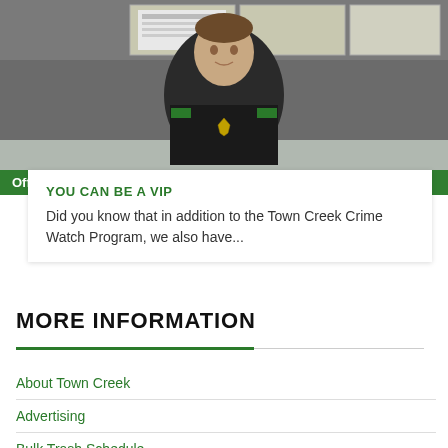[Figure (photo): Screenshot of a video showing Officer Kevin Kelley in police uniform seated at a desk with cabinets and papers in background. A green name bar overlay reads 'Officer Kevin Kelley'.]
YOU CAN BE A VIP
Did you know that in addition to the Town Creek Crime Watch Program, we also have...
MORE INFORMATION
About Town Creek
Advertising
Bulk Trash Schedule